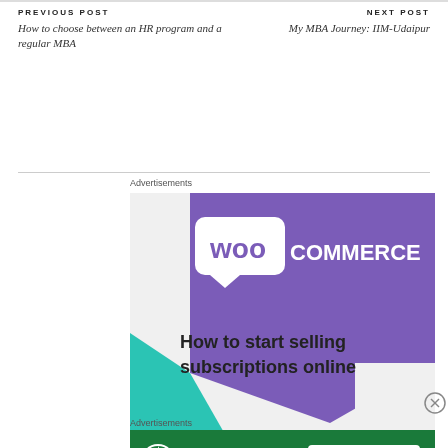PREVIOUS POST
How to choose between an HR program and a regular MBA
NEXT POST
My MBA Journey: IIM-Udaipur
Advertisements
[Figure (illustration): WooCommerce advertisement banner with purple speech bubble logo, teal triangle, blue quarter-circle shapes on grey background. Text reads: How to start selling subscriptions online]
Advertisements
[Figure (illustration): Jetpack advertisement banner on green background with Jetpack logo and button: Back up your site]